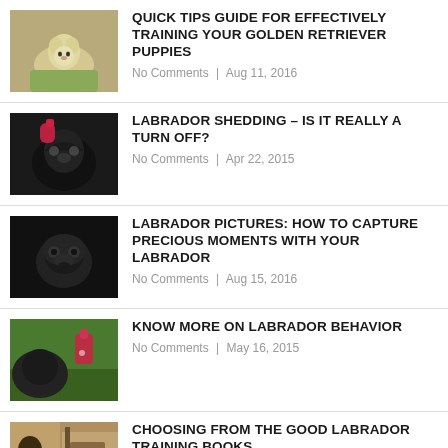QUICK TIPS GUIDE FOR EFFECTIVELY TRAINING YOUR GOLDEN RETRIEVER PUPPIES | No Comments | Aug 11, 2016
LABRADOR SHEDDING – IS IT REALLY A TURN OFF? | No Comments | Apr 22, 2015
LABRADOR PICTURES: HOW TO CAPTURE PRECIOUS MOMENTS WITH YOUR LABRADOR | No Comments | Aug 15, 2016
KNOW MORE ON LABRADOR BEHAVIOR | No Comments | May 16, 2015
CHOOSING FROM THE GOOD LABRADOR TRAINING BOOKS | No Comments | May 10, 2015